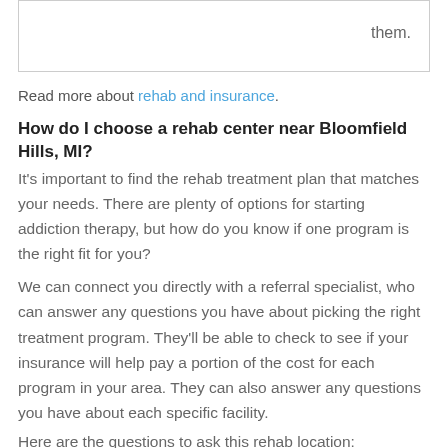| them. |
Read more about rehab and insurance.
How do I choose a rehab center near Bloomfield Hills, MI?
It's important to find the rehab treatment plan that matches your needs. There are plenty of options for starting addiction therapy, but how do you know if one program is the right fit for you?
We can connect you directly with a referral specialist, who can answer any questions you have about picking the right treatment program. They'll be able to check to see if your insurance will help pay a portion of the cost for each program in your area. They can also answer any questions you have about each specific facility.
Here are the questions to ask this rehab location: